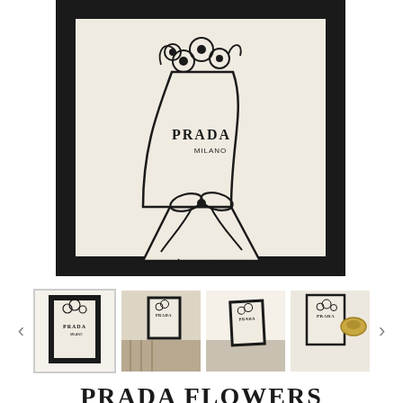[Figure (illustration): Framed fashion illustration in black frame: a line-drawing of a flower bouquet wrapped in a Prada Milano paper cone with a ribbon tied at the bottom, on a cream/beige background. Black thick frame around the artwork.]
[Figure (photo): Thumbnail strip showing four images of the same Prada Flowers print: first is the print standalone, second shows it in a nursery room, third shows it leaning against a bed frame, fourth shows it on a wall with a hat.]
PRADA FLOWERS PRINT